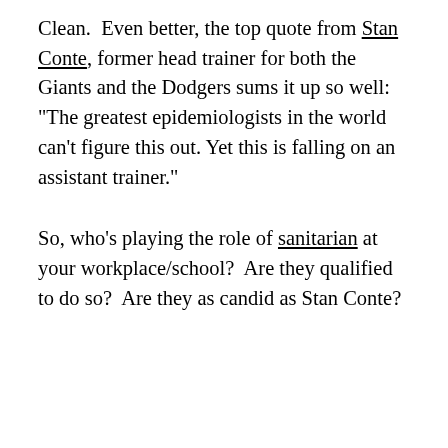Clean.  Even better, the top quote from Stan Conte, former head trainer for both the Giants and the Dodgers sums it up so well:  "The greatest epidemiologists in the world can't figure this out. Yet this is falling on an assistant trainer."
So, who's playing the role of sanitarian at your workplace/school?  Are they qualified to do so?  Are they as candid as Stan Conte?